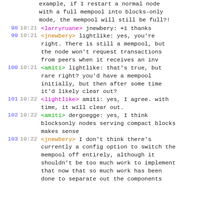example, if I restart a normal node with a full mempool into blocks-only mode, the mempool will still be full?!
98 10:21 <larryruane> jnewbery: +1 thanks
99 10:21 <jnewbery> lightlike: yes, you're right. There is still a mempool, but the node won't request transactions from peers when it receives an inv
100 10:21 <amiti> lightlike: that's true, but rare right? you'd have a mempool initially, but then after some time it'd likely clear out?
101 10:22 <lightlike> amiti: yes, I agree. with time, it will clear out.
102 10:22 <amiti> dergoegge: yes, I think blocksonly nodes serving compact blocks makes sense
103 10:22 <jnewbery> I don't think there's currently a config option to switch the mempool off entirely, although it shouldn't be too much work to implement that now that so much work has been done to separate out the components